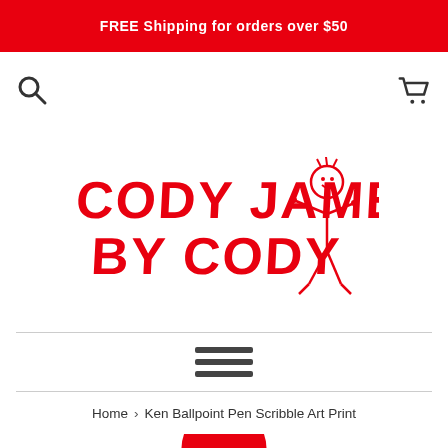FREE Shipping for orders over $50
[Figure (logo): Cody James by Cody logo with red hand-drawn text and stick figure]
Home › Ken Ballpoint Pen Scribble Art Print